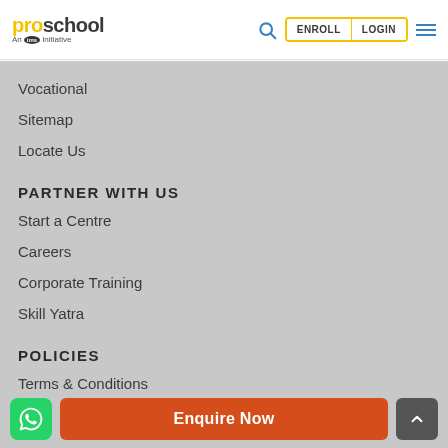proschool — An IMS Initiative | ENROLL | LOGIN
Vocational
Sitemap
Locate Us
PARTNER WITH US
Start a Centre
Careers
Corporate Training
Skill Yatra
POLICIES
Terms & Conditions
Privacy Policy
Disclaimer